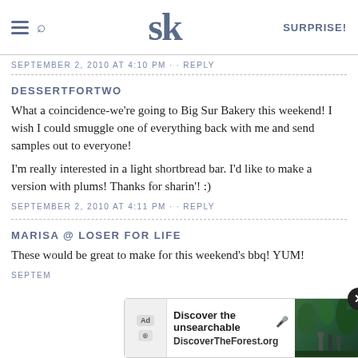SK | SURPRISE!
SEPTEMBER 2, 2010 AT 4:10 PM · · REPLY
DESSERTFORTWO
What a coincidence-we're going to Big Sur Bakery this weekend! I wish I could smuggle one of everything back with me and send samples out to everyone!
I'm really interested in a light shortbread bar. I'd like to make a version with plums! Thanks for sharin'! :)
SEPTEMBER 2, 2010 AT 4:11 PM · · REPLY
MARISA @ LOSER FOR LIFE
These would be great to make for this weekend's bbq! YUM!
SEPTEM...
[Figure (screenshot): Ad overlay: Discover the unsearchable / DiscoverTheForest.org with forest photo and close button]